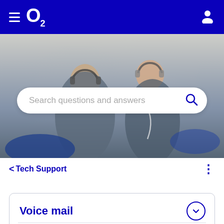O2 navigation bar with hamburger menu and user icon
[Figure (photo): Two people sitting together, both wearing headphones, smiling and interacting with a device. Background is light grey/indoor setting.]
Search questions and answers
< Tech Support
Voice mail